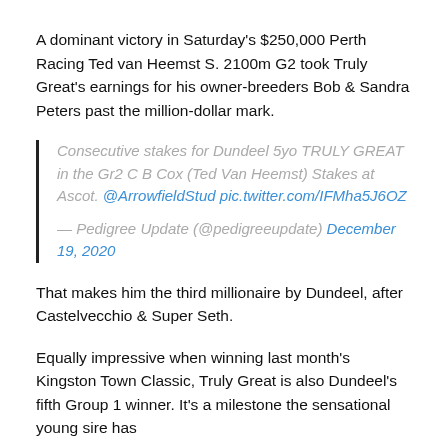A dominant victory in Saturday's $250,000 Perth Racing Ted van Heemst S. 2100m G2 took Truly Great's earnings for his owner-breeders Bob & Sandra Peters past the million-dollar mark.
Consecutive stakes for Dundeel 5yo TRULY GREAT in the Gr2 C B Cox (Ted Van Heemst) Stakes at Ascot. @ArrowfieldStud pic.twitter.com/IFMha5J6OZ
— Pedigree Update (@pedigreeupdate) December 19, 2020
That makes him the third millionaire by Dundeel, after Castelvecchio & Super Seth.
Equally impressive when winning last month's Kingston Town Classic, Truly Great is also Dundeel's fifth Group 1 winner. It's a milestone the sensational young sire has